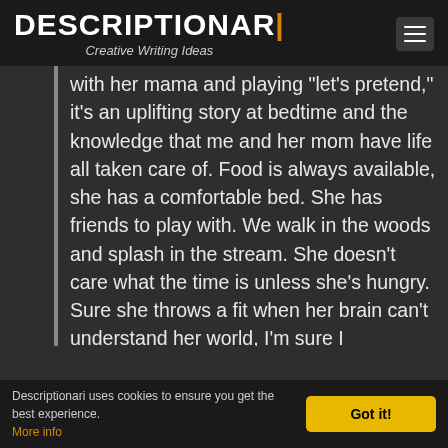DESCRIPTIONAR| Creative Writing Ideas
with her mama and playing "let's pretend," it's an uplifting story at bedtime and the knowledge that me and her mom have life all taken care of. Food is always available, she has a comfortable bed. She has friends to play with. We walk in the woods and splash in the stream. She doesn't care what the time is unless she's hungry. Sure she throws a fit when her brain can't understand her world, I'm sure I
Descriptionari uses cookies to ensure you get the best experience. More info